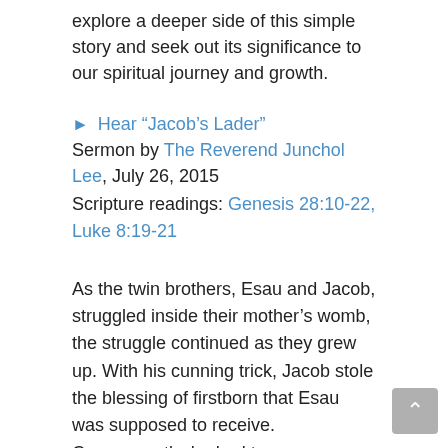explore a deeper side of this simple story and seek out its significance to our spiritual journey and growth.
► Hear “Jacob’s Lader”
Sermon by The Reverend Junchol Lee, July 26, 2015
Scripture readings: Genesis 28:10-22, Luke 8:19-21
As the twin brothers, Esau and Jacob, struggled inside their mother’s womb, the struggle continued as they grew up. With his cunning trick, Jacob stole the blessing of firstborn that Esau was supposed to receive. Consequently, he had to run away from home to avoid the fury of his older brother. On his way to his uncle Laban, Jacob stayed overnight at a certain place and